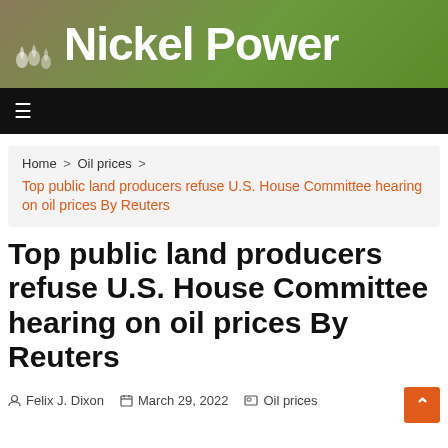Nickel Power
Home > Oil prices > Top public land producers refuse U.S. House Committee hearing on oil prices By Reuters
Top public land producers refuse U.S. House Committee hearing on oil prices By Reuters
Felix J. Dixon   March 29, 2022   Oil prices